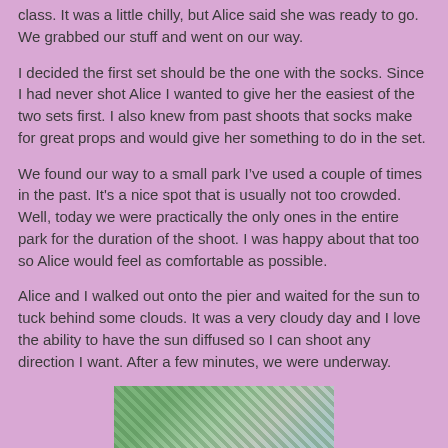class. It was a little chilly, but Alice said she was ready to go. We grabbed our stuff and went on our way.
I decided the first set should be the one with the socks. Since I had never shot Alice I wanted to give her the easiest of the two sets first. I also knew from past shoots that socks make for great props and would give her something to do in the set.
We found our way to a small park I’ve used a couple of times in the past. It's a nice spot that is usually not too crowded. Well, today we were practically the only ones in the entire park for the duration of the shoot. I was happy about that too so Alice would feel as comfortable as possible.
Alice and I walked out onto the pier and waited for the sun to tuck behind some clouds. It was a very cloudy day and I love the ability to have the sun diffused so I can shoot any direction I want. After a few minutes, we were underway.
[Figure (photo): Partial photo visible at bottom of page showing outdoor scene with trees and sky]